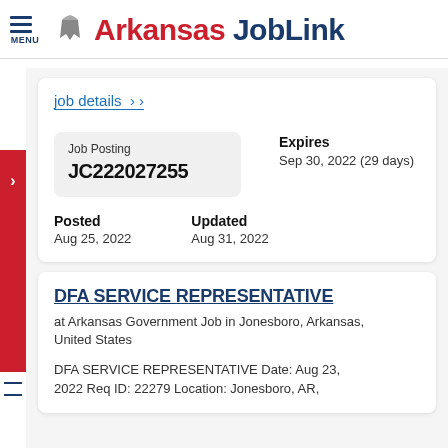Arkansas JobLink
job details >
Job Posting
JC222027255
Expires
Sep 30, 2022 (29 days)
Posted
Aug 25, 2022
Updated
Aug 31, 2022
DFA SERVICE REPRESENTATIVE
at Arkansas Government Job in Jonesboro, Arkansas, United States
DFA SERVICE REPRESENTATIVE Date: Aug 23, 2022 Req ID: 22279 Location: Jonesboro, AR,